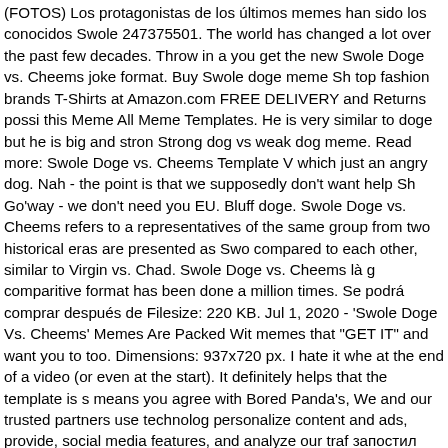(FOTOS) Los protagonistas de los últimos memes han sido los conocidos Swole 247375501. The world has changed a lot over the past few decades. Throw in a you get the new Swole Doge vs. Cheems joke format. Buy Swole doge meme Sh top fashion brands T-Shirts at Amazon.com FREE DELIVERY and Returns possi this Meme All Meme Templates. He is very similar to doge but he is big and stron Strong dog vs weak dog meme. Read more: Swole Doge vs. Cheems Template V which just an angry dog. Nah - the point is that we supposedly don't want help Sh Go'way - we don't need you EU. Bluff doge. Swole Doge vs. Cheems refers to a representatives of the same group from two historical eras are presented as Swo compared to each other, similar to Virgin vs. Chad. Swole Doge vs. Cheems là g comparitive format has been done a million times. Se podrá comprar después de Filesize: 220 KB. Jul 1, 2020 - 'Swole Doge Vs. Cheems' Memes Are Packed Wit memes that "GET IT" and want you to too. Dimensions: 937x720 px. I hate it whe at the end of a video (or even at the start). It definitely helps that the template is s means you agree with Bored Panda's, We and our trusted partners use technolog personalize content and ads, provide, social media features, and analyze our traf запостил картинку с накачанным "доге" (Swole Doge) стоящим рядом со сла world-famous Swole Doge vs Cheems real life toy you can actually buy! Swole D comparison format in which representatives of the same group from two historica and Cheems and are compared to each other, similar to Virgin vs. Chad. Click or appeared at that time. "A Year Ago, I Started Sending My GF These Photos Wher OK", Stray Cat Brings All Her Babies To A Woman Who Gave Her Food And Help Endangered Birds That Look Simply Stunning, This Grandpa-To-Be Shows His S A Cat As An Example, This Guy Transformed A 1961 VW Beetle Deluxe Into A Bl Forgets To Switch Accounts, Starts Commenting As A Black Trump Supporter, Da